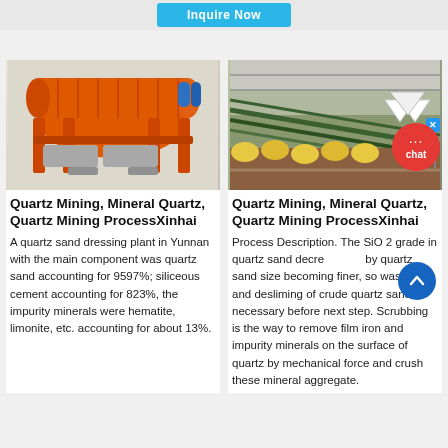[Figure (other): Inquire Now button (cyan/blue)]
[Figure (photo): Orange drum vacuum filter machine for quartz sand processing]
Quartz Mining, Mineral Quartz, Quartz Mining ProcessXinhai
A quartz sand dressing plant in Yunnan with the main component was quartz sand accounting for 9597%; siliceous cement accounting for 823%, the impurity minerals were hematite, limonite, etc. accounting for about 13%.
[Figure (photo): Aerial view of mining processing plant with yellow tanks and green conveyors]
Quartz Mining, Mineral Quartz, Quartz Mining ProcessXinhai
Process Description. The SiO 2 grade in quartz sand decrease by quartz sand size becoming finer, so washing and desliming of crude quartz sand is necessary before next step. Scrubbing is the way to remove film iron and impurity minerals on the surface of quartz by mechanical force and crush these mineral aggregate.